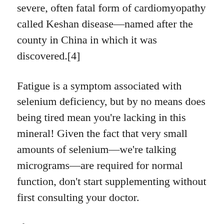severe, often fatal form of cardiomyopathy called Keshan disease—named after the county in China in which it was discovered.[4]
Fatigue is a symptom associated with selenium deficiency, but by no means does being tired mean you're lacking in this mineral! Given the fact that very small amounts of selenium—we're talking micrograms—are required for normal function, don't start supplementing without first consulting your doctor.
If you are consuming a normal diet with enough variety, and perhaps taking a high-quality multivitamin, you're likely hitting your daily selenium target and supplementation isn't necessary.